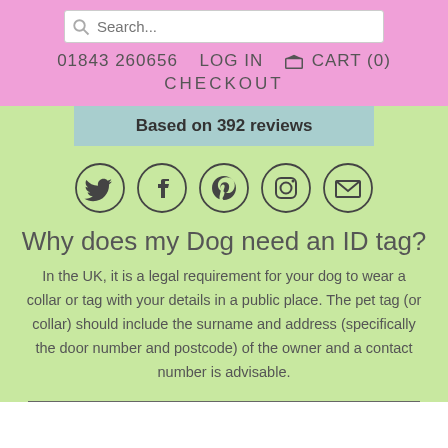Search... | 01843 260656  LOG IN  CART (0)  CHECKOUT
Based on 392 reviews
[Figure (infographic): Row of five social media icon circles: Twitter, Facebook, Pinterest, Instagram, and Email/envelope]
Why does my Dog need an ID tag?
In the UK, it is a legal requirement for your dog to wear a collar or tag with your details in a public place. The pet tag (or collar) should include the surname and address (specifically the door number and postcode) of the owner and a contact number is advisable.